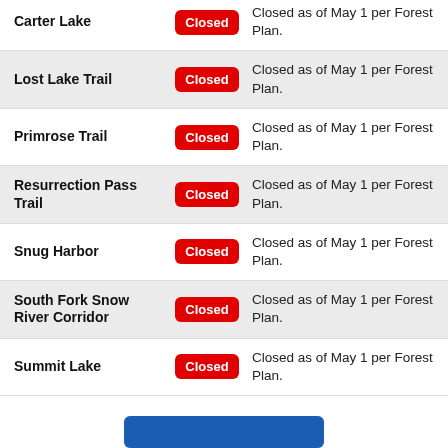| Location | Status | Description |
| --- | --- | --- |
| Carter Lake | Closed | Closed as of May 1 per Forest Plan. |
| Lost Lake Trail | Closed | Closed as of May 1 per Forest Plan. |
| Primrose Trail | Closed | Closed as of May 1 per Forest Plan. |
| Resurrection Pass Trail | Closed | Closed as of May 1 per Forest Plan. |
| Snug Harbor | Closed | Closed as of May 1 per Forest Plan. |
| South Fork Snow River Corridor | Closed | Closed as of May 1 per Forest Plan. |
| Summit Lake | Closed | Closed as of May 1 per Forest Plan. |